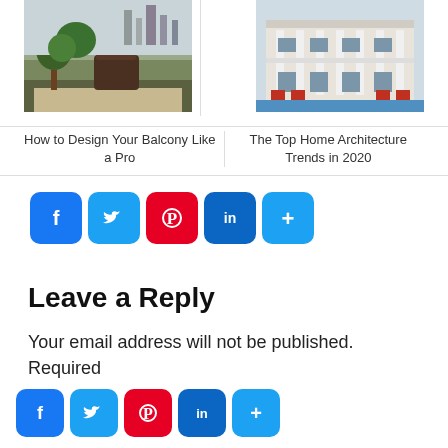[Figure (photo): Photo of a balcony with wicker chair, plants, and city view in background]
How to Design Your Balcony Like a Pro
[Figure (photo): Photo of a white colonial home with columns, porch and outdoor seating area]
The Top Home Architecture Trends in 2020
[Figure (infographic): Social share buttons: Facebook, Twitter, Pinterest, LinkedIn, More]
Leave a Reply
Your email address will not be published. Required fields are marked *
[Figure (infographic): Social share buttons bottom: Facebook, Twitter, Pinterest, LinkedIn, More]